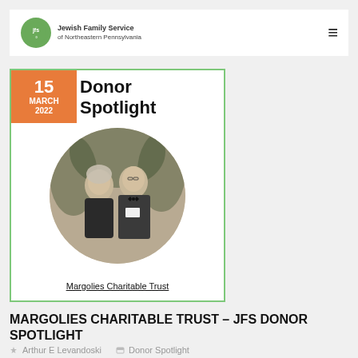Jewish Family Service
[Figure (photo): Donor Spotlight card with date badge showing 15 MARCH 2022, title 'Donor Spotlight', circular photo of a couple (man in tuxedo, woman), and underlined text 'Margolies Charitable Trust']
MARGOLIES CHARITABLE TRUST – JFS DONOR SPOTLIGHT
Arthur E Levandoski   Donor Spotlight